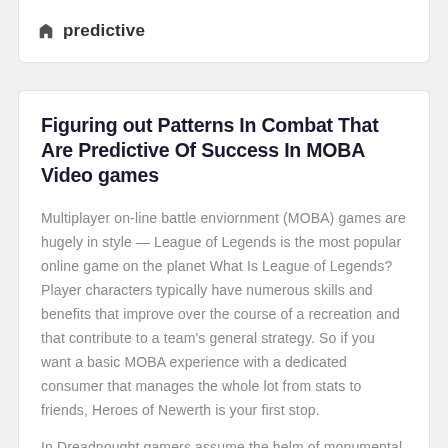predictive
Figuring out Patterns In Combat That Are Predictive Of Success In MOBA Video games
Multiplayer on-line battle enviornment (MOBA) games are hugely in style — League of Legends is the most popular online game on the planet What Is League of Legends? Player characters typically have numerous skills and benefits that improve over the course of a recreation and that contribute to a team's general strategy. So if you want a basic MOBA experience with a dedicated consumer that manages the whole lot from stats to friends, Heroes of Newerth is your first stop.
In Dreadnought gamers assume the helm of monumental